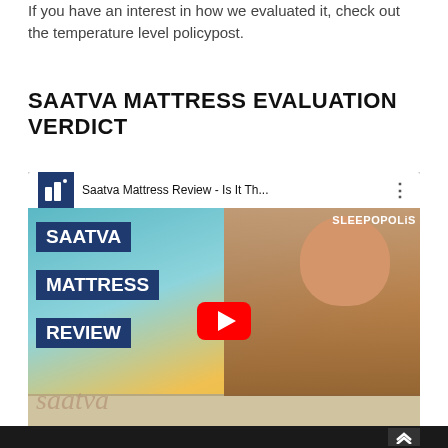If you have an interest in how we evaluated it, check out the temperature level policypost.
SAATVA MATTRESS EVALUATION VERDICT
[Figure (screenshot): YouTube video thumbnail for 'Saatva Mattress Review - Is It Th...' by Sleepopolis channel. Shows a man smiling leaning on a mattress, with overlaid text labels SAATVA, MATTRESS, REVIEW in dark blue boxes on the left. A YouTube play button is centered. The word 'saatva' appears in large italic text at the bottom.]